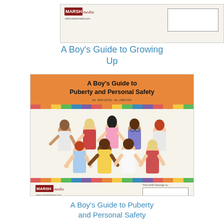[Figure (illustration): Top DVD sleeve for Marsh Media showing logo on left and 'This DVD belongs to' label box on right, beige background]
A Boy's Guide to Growing Up
[Figure (illustration): DVD cover for 'A Boy's Guide to Puberty and Personal Safety' showing orange header with title, colorful stripe, illustrated group of diverse children, colorful stripe bottom, and Marsh Media sleeve bottom with belongs-to box]
A Boy's Guide to Puberty and Personal Safety